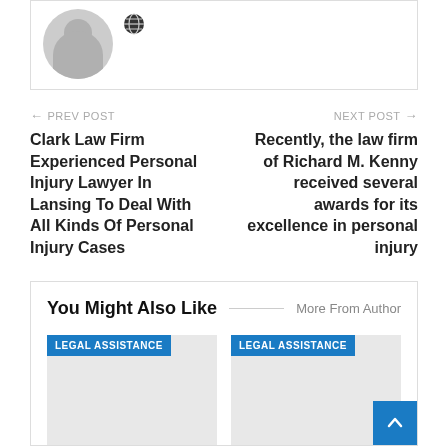[Figure (illustration): Partial card with a grey avatar/silhouette icon and a globe icon]
← PREV POST
Clark Law Firm Experienced Personal Injury Lawyer In Lansing To Deal With All Kinds Of Personal Injury Cases
NEXT POST →
Recently, the law firm of Richard M. Kenny received several awards for its excellence in personal injury
You Might Also Like
More From Author
[Figure (other): Legal Assistance card image placeholder (grey background with blue LEGAL ASSISTANCE badge)]
[Figure (other): Legal Assistance card image placeholder (grey background with blue LEGAL ASSISTANCE badge)]